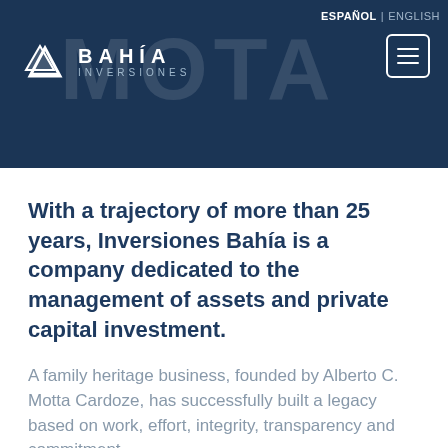[Figure (screenshot): Dark navy blue header banner with watermark text 'MOTA', Bahía Inversiones logo on left, language navigation (ESPAÑOL | ENGLISH) top right, and hamburger menu button top right]
With a trajectory of more than 25 years, Inversiones Bahía is a company dedicated to the management of assets and private capital investment.
A family heritage business, founded by Alberto C. Motta Cardoze, has successfully built a legacy based on work, effort, integrity, transparency and commitment.